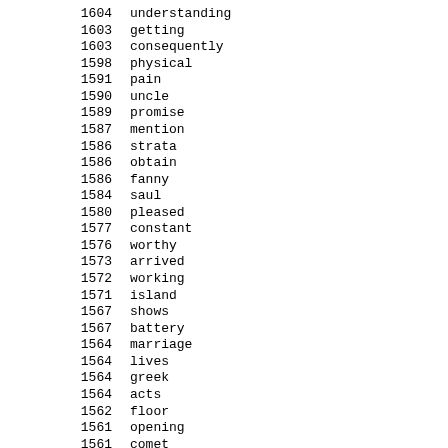| count | word |
| --- | --- |
| 1604 | understanding |
| 1603 | getting |
| 1603 | consequently |
| 1598 | physical |
| 1591 | pain |
| 1590 | uncle |
| 1589 | promise |
| 1587 | mention |
| 1586 | strata |
| 1586 | obtain |
| 1586 | fanny |
| 1584 | saul |
| 1580 | pleased |
| 1577 | constant |
| 1576 | worthy |
| 1573 | arrived |
| 1572 | working |
| 1571 | island |
| 1567 | shows |
| 1567 | battery |
| 1564 | marriage |
| 1564 | lives |
| 1564 | greek |
| 1564 | acts |
| 1562 | floor |
| 1561 | opening |
| 1561 | comet |
| 1559 | neck |
| 1559 | finally |
| 1558 | dust |